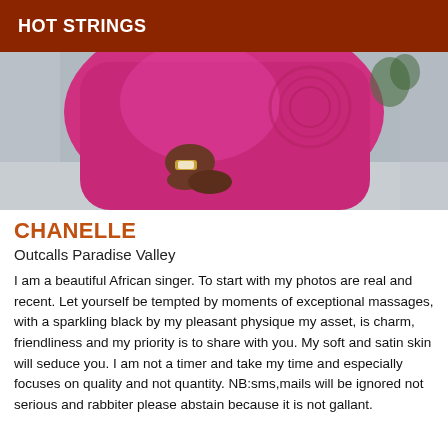HOT STRINGS
[Figure (photo): Cropped photo of a woman in a bright pink/magenta dress or top, partially visible from mid-torso, dark skin, with a watch on wrist]
CHANELLE
Outcalls Paradise Valley
I am a beautiful African singer. To start with my photos are real and recent. Let yourself be tempted by moments of exceptional massages, with a sparkling black by my pleasant physique my asset, is charm, friendliness and my priority is to share with you. My soft and satin skin will seduce you. I am not a timer and take my time and especially focuses on quality and not quantity. NB:sms,mails will be ignored not serious and rabbiter please abstain because it is not gallant.